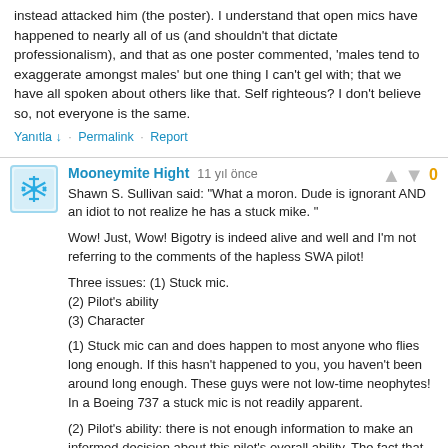instead attacked him (the poster). I understand that open mics have happened to nearly all of us (and shouldn't that dictate professionalism), and that as one poster commented, 'males tend to exaggerate amongst males' but one thing I can't gel with; that we have all spoken about others like that. Self righteous? I don't believe so, not everyone is the same.
Yanıtla ↓ · Permalink · Report
Mooneymite Hight   11 yıl önce   0
Shawn S. Sullivan said: "What a moron. Dude is ignorant AND an idiot to not realize he has a stuck mike. "

Wow! Just, Wow! Bigotry is indeed alive and well and I'm not referring to the comments of the hapless SWA pilot!

Three issues: (1) Stuck mic.
(2) Pilot's ability
(3) Character

(1) Stuck mic can and does happen to most anyone who flies long enough. If this hasn't happened to you, you haven't been around long enough. These guys were not low-time neophytes! In a Boeing 737 a stuck mic is not readily apparent.

(2) Pilot's ability: there is not enough information to make an informed decision about this pilot's overall ability. The fact that SWA kept him as a pilot speaks volumes. I'm glad the management of SWA is not as bigoted and small minded as so many of you self-righteous posters!